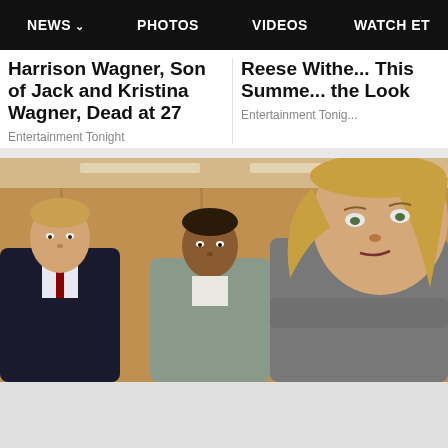NEWS  PHOTOS  VIDEOS  WATCH ET
Harrison Wagner, Son of Jack and Kristina Wagner, Dead at 27
Entertainment Tonight
Reese Withe... This Summe... the Look
Entertainment Tonig...
[Figure (photo): Three business professionals standing: a man in a dark suit with red tie on the left, a woman in a grey blazer in the center background, and a blonde woman in a grey blazer in the foreground right, in what appears to be a courtroom or office setting.]